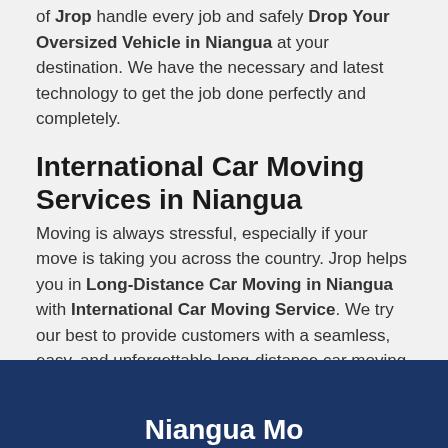of Jrop handle every job and safely Drop Your Oversized Vehicle in Niangua at your destination. We have the necessary and latest technology to get the job done perfectly and completely.
International Car Moving Services in Niangua
Moving is always stressful, especially if your move is taking you across the country. Jrop helps you in Long-Distance Car Moving in Niangua with International Car Moving Service. We try our best to provide customers with a seamless, easy, and unforgettable long-distance car moving experience worldwide.
Niangua Mo...